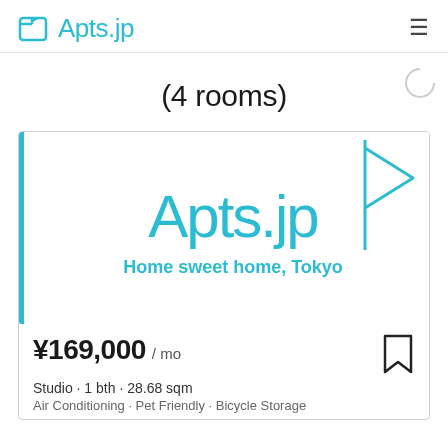Apts.jp
(4 rooms)
[Figure (logo): Apts.jp logo with large teal text reading 'Apts.jp' and tagline 'Home sweet home, Tokyo', with a teal left vertical bar and teal arrow/flag icon on the right]
¥169,000 / mo
Studio · 1 bth · 28.68 sqm
Air Conditioning · Pet Friendly · Bicycle Storage